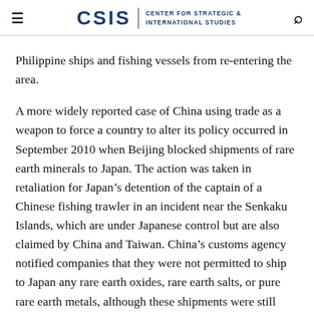CSIS | CENTER FOR STRATEGIC & INTERNATIONAL STUDIES
Philippine ships and fishing vessels from re-entering the area.
A more widely reported case of China using trade as a weapon to force a country to alter its policy occurred in September 2010 when Beijing blocked shipments of rare earth minerals to Japan. The action was taken in retaliation for Japan’s detention of the captain of a Chinese fishing trawler in an incident near the Senkaku Islands, which are under Japanese control but are also claimed by China and Taiwan. China’s customs agency notified companies that they were not permitted to ship to Japan any rare earth oxides, rare earth salts, or pure rare earth metals, although these shipments were still allowed to Hong Kong, Singapore, and other countries. The Chinese subsequently slowed rare earth shipments to